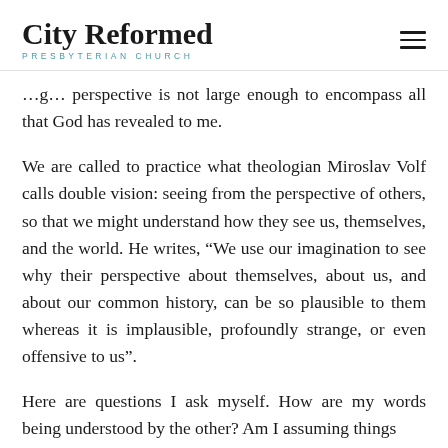City Reformed Presbyterian Church
…g… perspective is not large enough to encompass all that God has revealed to me.
We are called to practice what theologian Miroslav Volf calls double vision: seeing from the perspective of others, so that we might understand how they see us, themselves, and the world. He writes, “We use our imagination to see why their perspective about themselves, about us, and about our common history, can be so plausible to them whereas it is implausible, profoundly strange, or even offensive to us”.
Here are questions I ask myself. How are my words being understood by the other? Am I assuming things